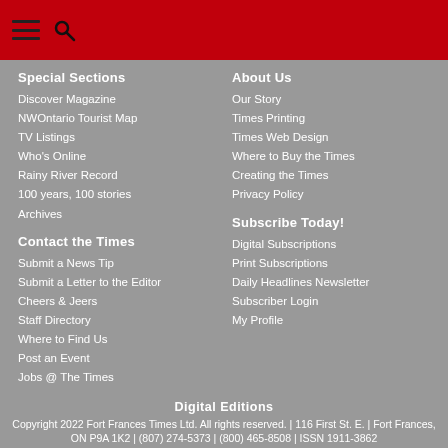Header bar with hamburger menu and search icon
Special Sections
Discover Magazine
NWOntario Tourist Map
TV Listings
Who's Online
Rainy River Record
100 years, 100 stories
Archives
Contact the Times
Submit a News Tip
Submit a Letter to the Editor
Cheers & Jeers
Staff Directory
Where to Find Us
Post an Event
Jobs @ The Times
About Us
Our Story
Times Printing
Times Web Design
Where to Buy the Times
Creating the Times
Privacy Policy
Subscribe Today!
Digital Subscriptions
Print Subscriptions
Daily Headlines Newsletter
Subscriber Login
My Profile
Digital Editions
Copyright 2022 Fort Frances Times Ltd. All rights reserved. | 116 First St. E. | Fort Frances, ON P9A 1K2 | (807) 274-5373 | (800) 465-8508 | ISSN 1911-3862